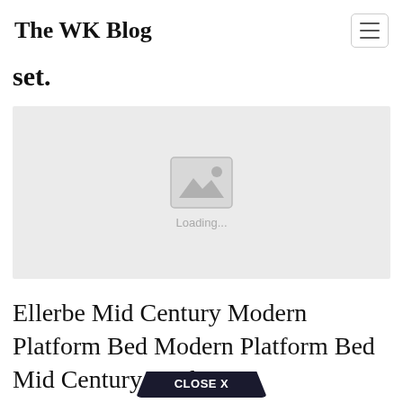The WK Blog
set.
[Figure (photo): Image loading placeholder with mountain/image icon and 'Loading...' text on a light gray background]
Ellerbe Mid Century Modern Platform Bed Modern Platform Bed Mid Century Modern